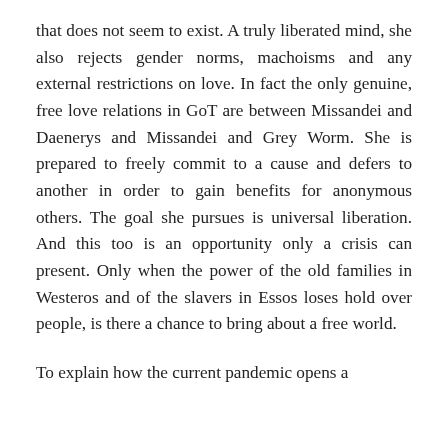that does not seem to exist. A truly liberated mind, she also rejects gender norms, machoisms and any external restrictions on love. In fact the only genuine, free love relations in GoT are between Missandei and Daenerys and Missandei and Grey Worm. She is prepared to freely commit to a cause and defers to another in order to gain benefits for anonymous others. The goal she pursues is universal liberation. And this too is an opportunity only a crisis can present. Only when the power of the old families in Westeros and of the slavers in Essos loses hold over people, is there a chance to bring about a free world.
To explain how the current pandemic opens a